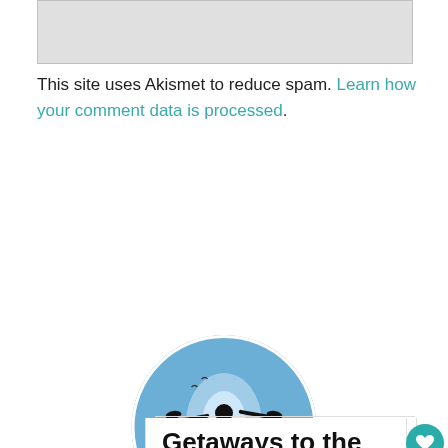[Figure (other): Gray rectangle at top, partial view of a form or image area]
This site uses Akismet to reduce spam. Learn how your comment data is processed.
[Figure (photo): Circular photo of a kayaker silhouetted against blue sky and water reflection]
Getaways to the authentic Florida
Explore Florida's beaches and